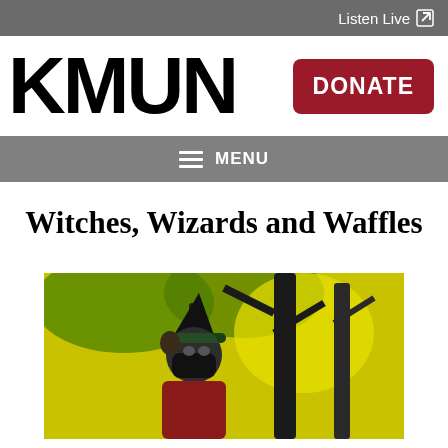Listen Live ↗
KMUN
DONATE
≡ MENU
Witches, Wizards and Waffles
[Figure (photo): Person wearing a black witch hat and black face mask, with green background and dark tree silhouettes, outdoors in a Halloween-themed setting.]